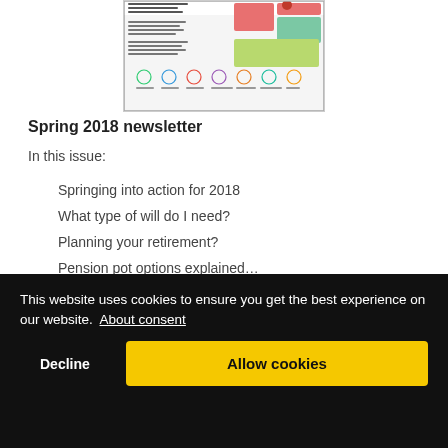[Figure (screenshot): Screenshot of a Spring 2018 newsletter thumbnail showing a colourful layout with images and icons]
Spring 2018 newsletter
In this issue:
Springing into action for 2018
What type of will do I need?
Planning your retirement?
Pension pot options explained…
This website uses cookies to ensure you get the best experience on our website. About consent
Decline
Allow cookies